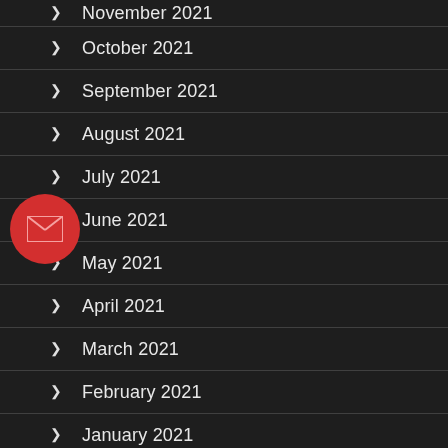November 2021
October 2021
September 2021
August 2021
July 2021
June 2021
May 2021
April 2021
March 2021
February 2021
January 2021
December 2020
[Figure (illustration): Red circular email/envelope button overlay on the left side of the list]